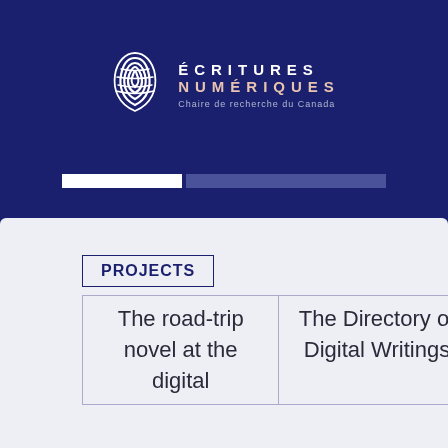[Figure (logo): Écritures Numériques - Chaire de recherche du Canada logo with fingerprint icon]
PROJECTS
| The road-trip novel at the digital | The Directory of Digital Writings | Rewriting the Trans-Canada Highway |